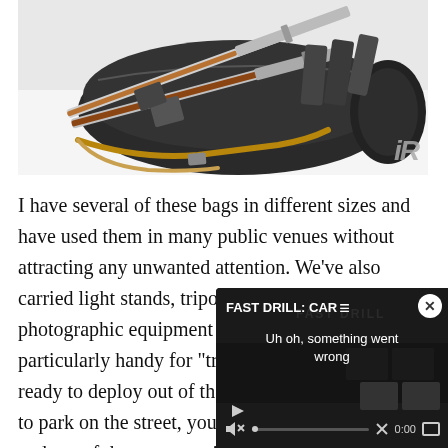[Figure (photo): Rifles and magazines laid on top of a black duffel/range bag on a white background. A watermark logo 'iR' appears in the bottom right corner of the photo.]
I have several of these bags in different sizes and have used them in many public venues without attracting any unwanted attention. We’ve also carried light stands, tripods, and other photographic equipment with them. They’re particularly handy for “truc[k…] ready to deploy out of the [car…] to park on the street, you c[ould…] and out of the car to avoid[…]
[Figure (screenshot): A video player overlay in the bottom-right corner showing 'FAST DRILL: CAR' as the title, with an error message 'Uh oh, something went wrong', a close button (x), muted speaker icon, progress bar at 0:00, and fullscreen button. Background shows 'FAST DRILL' watermark text.]